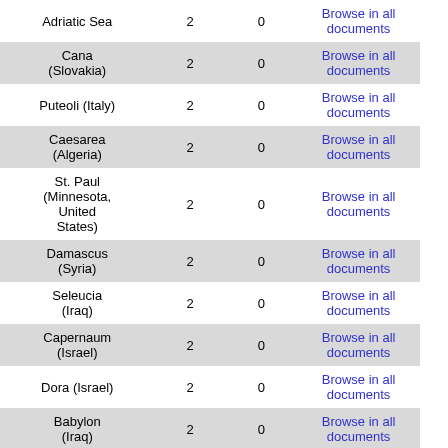| Location | Count1 | Count2 | Action |
| --- | --- | --- | --- |
| Adriatic Sea | 2 | 0 | Browse in all documents |
| Cana (Slovakia) | 2 | 0 | Browse in all documents |
| Puteoli (Italy) | 2 | 0 | Browse in all documents |
| Caesarea (Algeria) | 2 | 0 | Browse in all documents |
| St. Paul (Minnesota, United States) | 2 | 0 | Browse in all documents |
| Damascus (Syria) | 2 | 0 | Browse in all documents |
| Seleucia (Iraq) | 2 | 0 | Browse in all documents |
| Capernaum (Israel) | 2 | 0 | Browse in all documents |
| Dora (Israel) | 2 | 0 | Browse in all documents |
| Babylon (Iraq) | 2 | 0 | Browse in all documents |
| Phoenicia | 2 | 0 | Browse in all documents |